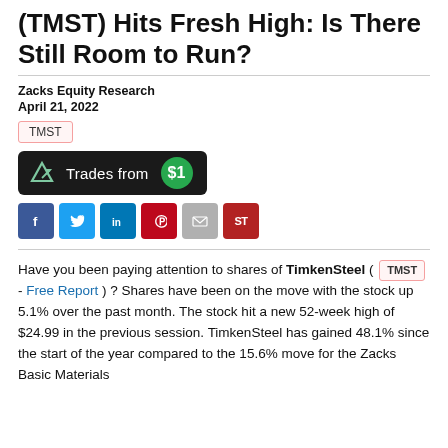(TMST) Hits Fresh High: Is There Still Room to Run?
Zacks Equity Research
April 21, 2022
TMST
[Figure (infographic): Trades from $1 button with share icon on dark background]
[Figure (infographic): Social share icons: Facebook, Twitter, LinkedIn, Pinterest, Email, ST]
Have you been paying attention to shares of TimkenSteel ( TMST - Free Report ) ? Shares have been on the move with the stock up 5.1% over the past month. The stock hit a new 52-week high of $24.99 in the previous session. TimkenSteel has gained 48.1% since the start of the year compared to the 15.6% move for the Zacks Basic Materials